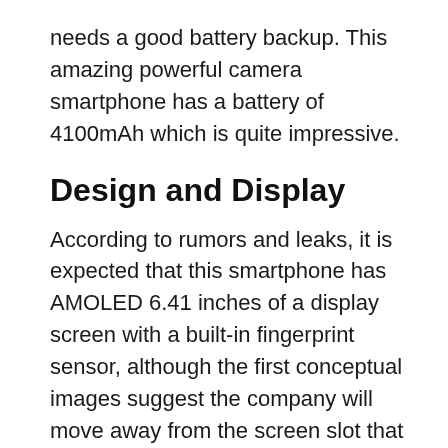needs a good battery backup. This amazing powerful camera smartphone has a battery of 4100mAh which is quite impressive.
Design and Display
According to rumors and leaks, it is expected that this smartphone has AMOLED 6.41 inches of a display screen with a built-in fingerprint sensor, although the first conceptual images suggest the company will move away from the screen slot that many of its fans are opposed to proposing a cutout for the selfie camera.
Although the images are not official or accurate it cannot be said that finally, the design of the smartphone will be like this, they reveal the supposed OnePlus 7 next to the current OnePlus 6T and put in the foreground the mentioned change. Instead of a